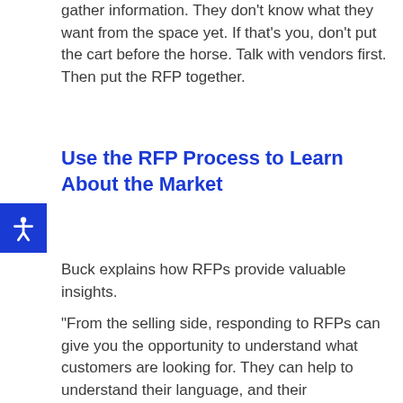gather information. They don't know what they want from the space yet. If that's you, don't put the cart before the horse. Talk with vendors first. Then put the RFP together.
Use the RFP Process to Learn About the Market
Buck explains how RFPs provide valuable insights.
“From the selling side, responding to RFPs can give you the opportunity to understand what customers are looking for. They can help to understand their language, and their